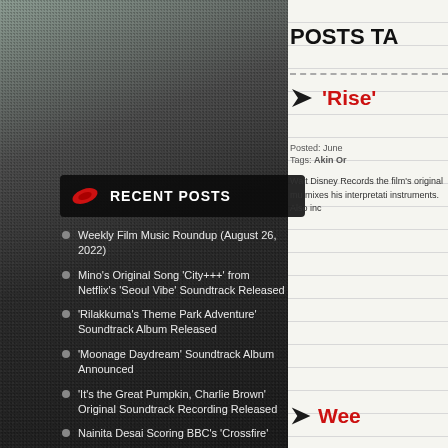RECENT POSTS
Weekly Film Music Roundup (August 26, 2022)
Mino's Original Song 'City+++' from Netflix's 'Seoul Vibe' Soundtrack Released
'Rilakkuma's Theme Park Adventure' Soundtrack Album Released
'Moonage Daydream' Soundtrack Album Announced
'It's the Great Pumpkin, Charlie Brown' Original Soundtrack Recording Released
Nainita Desai Scoring BBC's 'Crossfire'
'Tad the Lost Explorer and the Curse of the
POSTS TA
'Rise'
Posted: June
Tags: Akin Or
Walt Disney Records the film's original mu mixes his interpretati instruments. Also inc
Wee